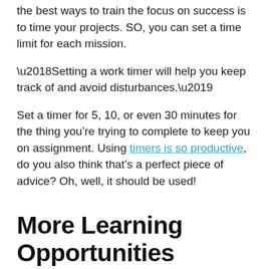the best ways to train the focus on success is to time your projects. SO, you can set a time limit for each mission.
‘Setting a work timer will help you keep track of and avoid disturbances.’
Set a timer for 5, 10, or even 30 minutes for the thing you’re trying to complete to keep you on assignment. Using timers is so productive, do you also think that’s a perfect piece of advice? Oh, well, it should be used!
More Learning Opportunities
Besides giving time for your personal life and duties you also need to have time for learning new things every